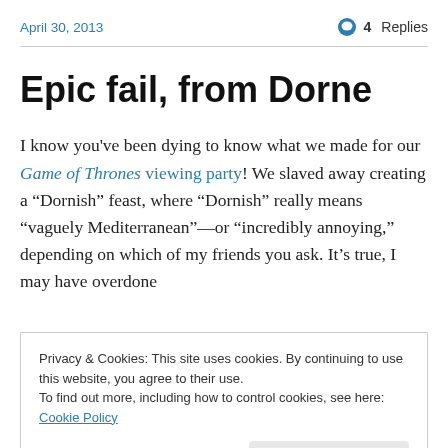April 30, 2013   4 Replies
Epic fail, from Dorne
I know you've been dying to know what we made for our Game of Thrones viewing party! We slaved away creating a “Dornish” feast, where “Dornish” really means “vaguely Mediterranean”—or “incredibly annoying,” depending on which of my friends you ask. It’s true, I may have overdone it...
Privacy & Cookies: This site uses cookies. By continuing to use this website, you agree to their use.
To find out more, including how to control cookies, see here: Cookie Policy
poser. From Dorne.